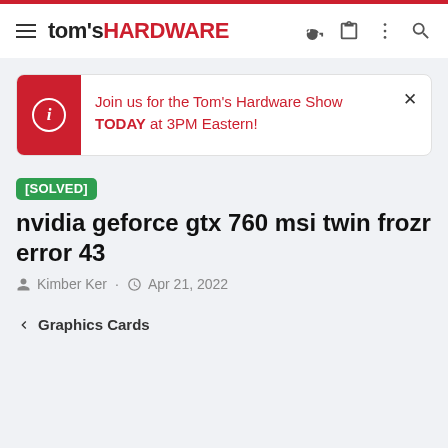tom's HARDWARE
Join us for the Tom's Hardware Show TODAY at 3PM Eastern!
[SOLVED] nvidia geforce gtx 760 msi twin frozr error 43
Kimber Ker · Apr 21, 2022
< Graphics Cards